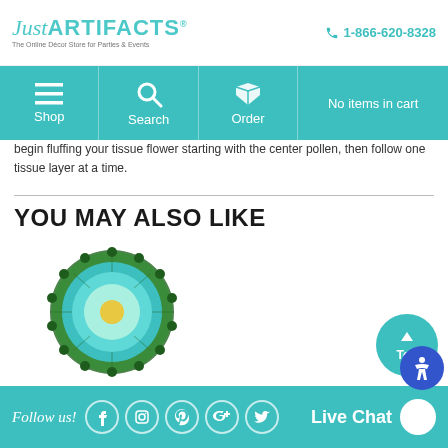Just ARTIFACTS® | 1-866-620-8328
[Figure (screenshot): Navigation bar with Shop, Search, Order icons and No items in cart]
begin fluffing your tissue flower starting with the center pollen, then follow one tissue layer at a time.
YOU MAY ALSO LIKE
[Figure (photo): Tissue Paper Flower 10 inch Peacock Spearmint Ivory product image - a round layered paper flower in teal and green colors]
Tissue Paper Flower 10" Peacock Spearmint Ivory
Price: $1.48
Follow us! | Live Chat